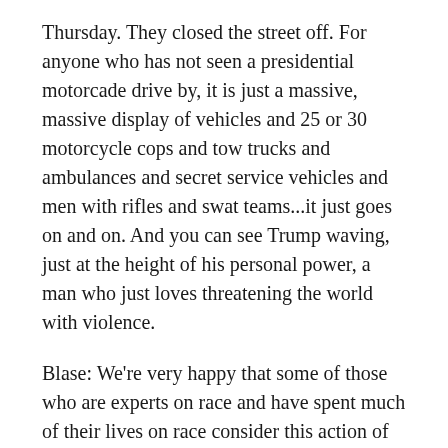Thursday. They closed the street off. For anyone who has not seen a presidential motorcade drive by, it is just a massive, massive display of vehicles and 25 or 30 motorcycle cops and tow trucks and ambulances and secret service vehicles and men with rifles and swat teams...it just goes on and on. And you can see Trump waving, just at the height of his personal power, a man who just loves threatening the world with violence.
Blase: We're very happy that some of those who are experts on race and have spent much of their lives on race consider this action of the football players as extremely positive. Harry Edwards, a professor at the University of